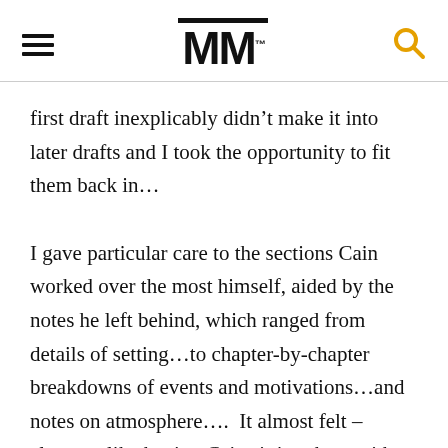MM
first draft inexplicably didn’t make it into later drafts and I took the opportunity to fit them back in…
I gave particular care to the sections Cain worked over the most himself, aided by the notes he left behind, which ranged from details of setting…to chapter-by-chapter breakdowns of events and motivations…and notes on atmosphere….  It almost felt – almost – like having Cain sitting there with me at the keyboard, watching over my shoulder, keeping me on the straight and narrow.